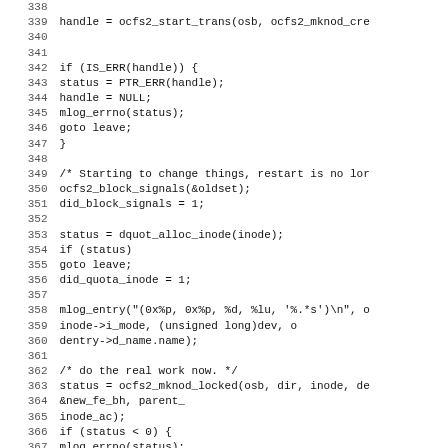[Figure (screenshot): Source code listing showing C code lines 338-370, featuring ocfs2 filesystem kernel code with function calls, error handling, and mlog_entry usage. Monospace font on white background with line numbers on left.]